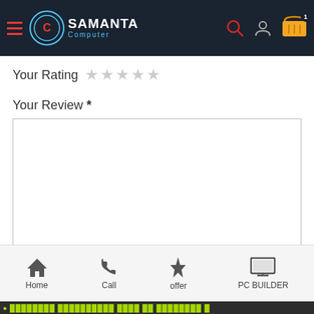[Figure (screenshot): Samanta Computer website header with hamburger menu, logo, search icon, profile icon, and cart icon with badge showing 1]
Your Rating ★★★★★
Your Review *
[Figure (other): Empty text area input box for review]
Name *
[Figure (other): Empty text input box for name]
Home | Call | offer | PC BUILDER
● xxxxxxxx xxxxxxxxxx xxxx xx xxxxxxxx x